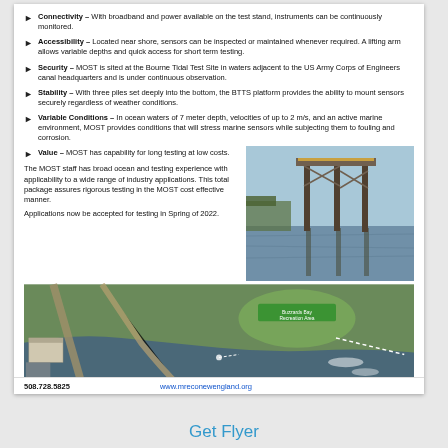Connectivity – With broadband and power available on the test stand, instruments can be continuously monitored.
Accessibility – Located near shore, sensors can be inspected or maintained whenever required. A lifting arm allows variable depths and quick access for short term testing.
Security – MOST is sited at the Bourne Tidal Test Site in waters adjacent to the US Army Corps of Engineers canal headquarters and is under continuous observation.
Stability – With three piles set deeply into the bottom, the BTTS platform provides the ability to mount sensors securely regardless of weather conditions.
Variable Conditions – In ocean waters of 7 meter depth, velocities of up to 2 m/s, and an active marine environment, MOST provides conditions that will stress marine sensors while subjecting them to fouling and corrosion.
Value – MOST has capability for long testing at low costs.
The MOST staff has broad ocean and testing experience with applicability to a wide range of industry applications. This total package assures rigorous testing in the MOST cost effective manner.
Applications now be accepted for testing in Spring of 2022.
[Figure (photo): Aerial/satellite view of Buzzards Bay Recreation Area showing waterway and test site location with dashed line marking]
[Figure (photo): Photo of MOST test stand structure with metal piles extending into water, a canal or river setting]
508.728.5825    www.mreconewengland.org
Get Flyer